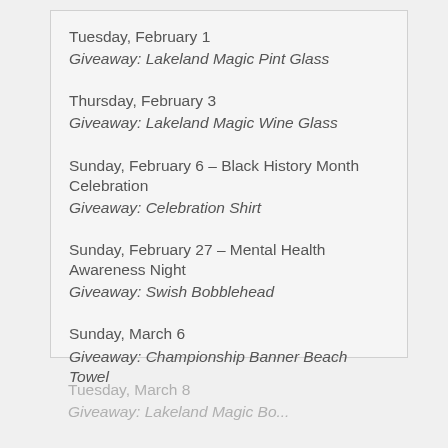Tuesday, February 1
Giveaway: Lakeland Magic Pint Glass
Thursday, February 3
Giveaway: Lakeland Magic Wine Glass
Sunday, February 6 – Black History Month Celebration
Giveaway: Celebration Shirt
Sunday, February 27 – Mental Health Awareness Night
Giveaway: Swish Bobblehead
Sunday, March 6
Giveaway: Championship Banner Beach Towel
Tuesday, March 8
Giveaway: Lakeland Magic Bo...